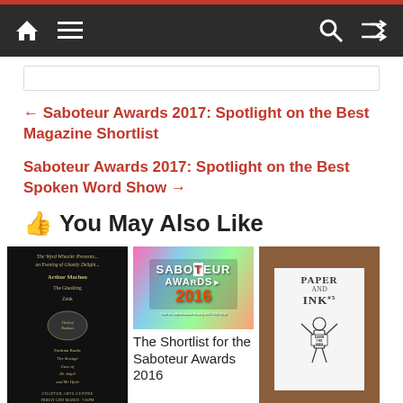Navigation bar with home, menu, search, and shuffle icons
← Saboteur Awards 2017: Spotlight on the Best Magazine Shortlist
Saboteur Awards 2017: Spotlight on the Best Spoken Word Show →
👍 You May Also Like
[Figure (illustration): Dark vintage event poster for The Wyrd Wheeler Presents - An Evening of Ghastly Delight featuring Arthur Machen, The Ghastling, Zeuk, Flock of Shadows, Parthian Books, The Strange Case of Dr Jekyll and Mr Hyde, at Chapter Arts Centre, Friday 13th March, 7:30pm]
[Figure (logo): Saboteur Awards 2016 colorful logo with flamingos background]
The Shortlist for the Saboteur Awards 2016
[Figure (photo): Paper and Ink #5 zine cover showing a figure with arms raised, with text DAMN THE MAN, on a wooden background]